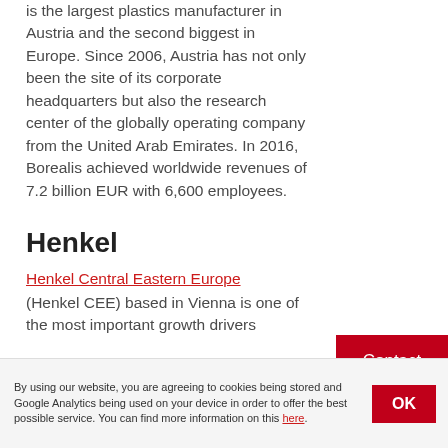is the largest plastics manufacturer in Austria and the second biggest in Europe. Since 2006, Austria has not only been the site of its corporate headquarters but also the research center of the globally operating company from the United Arab Emirates. In 2016, Borealis achieved worldwide revenues of 7.2 billion EUR with 6,600 employees.
Henkel
Henkel Central Eastern Europe (Henkel CEE) based in Vienna is one of the most important growth drivers
Contact
By using our website, you are agreeing to cookies being stored and Google Analytics being used on your device in order to offer the best possible service. You can find more information on this here.